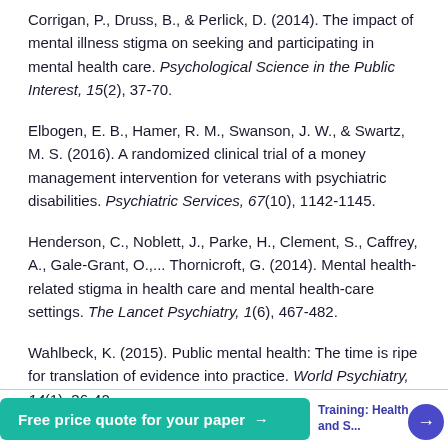Corrigan, P., Druss, B., & Perlick, D. (2014). The impact of mental illness stigma on seeking and participating in mental health care. Psychological Science in the Public Interest, 15(2), 37-70.
Elbogen, E. B., Hamer, R. M., Swanson, J. W., & Swartz, M. S. (2016). A randomized clinical trial of a money management intervention for veterans with psychiatric disabilities. Psychiatric Services, 67(10), 1142-1145.
Henderson, C., Noblett, J., Parke, H., Clement, S., Caffrey, A., Gale-Grant, O.,... Thornicroft, G. (2014). Mental health-related stigma in health care and mental health-care settings. The Lancet Psychiatry, 1(6), 467-482.
Wahlbeck, K. (2015). Public mental health: The time is ripe for translation of evidence into practice. World Psychiatry, 14(1), 36-42.